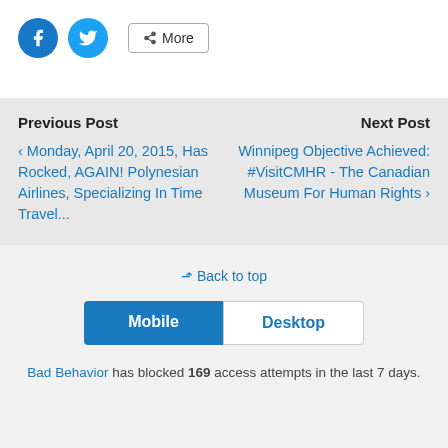[Figure (other): Social share buttons: Facebook (blue circle with f icon), Twitter (light blue circle with bird icon), and a More button with share icon]
Previous Post
‹ Monday, April 20, 2015, Has Rocked, AGAIN! Polynesian Airlines, Specializing In Time Travel...
Next Post
Winnipeg Objective Achieved: #VisitCMHR - The Canadian Museum For Human Rights ›
⇪ Back to top
[Figure (other): Mobile / Desktop toggle button bar with Mobile selected (dark blue) and Desktop unselected (white)]
Bad Behavior has blocked 169 access attempts in the last 7 days.